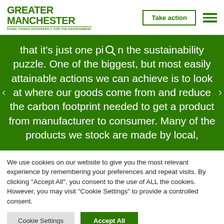[Figure (logo): Greater Manchester logo — green bold text reading GREATER MANCHESTER with tagline DOING THINGS DIFFERENTLY FOR THE ENVIRONMENT]
Take action
that it's just one piece in the sustainability puzzle. One of the biggest, but most easily attainable actions we can achieve is to look at where our goods come from and reduce the carbon footprint needed to get a product from manufacturer to consumer. Many of the products we stock are made by local,
We use cookies on our website to give you the most relevant experience by remembering your preferences and repeat visits. By clicking "Accept All", you consent to the use of ALL the cookies. However, you may visit "Cookie Settings" to provide a controlled consent.
Cookie Settings
Accept All